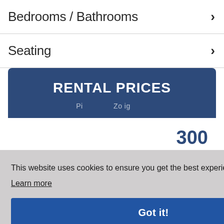Bedrooms / Bathrooms
Seating
RENTAL PRICES
300
880
This website uses cookies to ensure you get the best experience on our website.
Learn more
Got it!
CALL NOW + 353 1 9060955